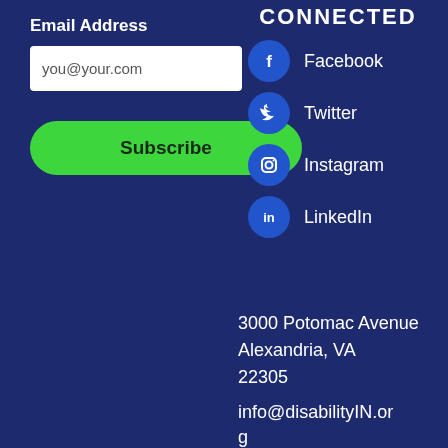Email Address
you@your.com
Subscribe
CONNECTED
Facebook
Twitter
Instagram
LinkedIn
3000 Potomac Avenue Alexandria, VA 22305
info@disabilityIN.org